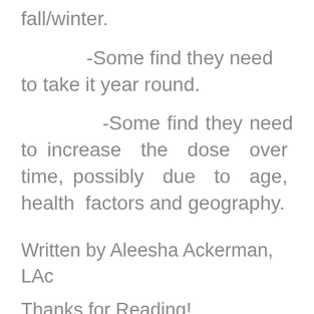fall/winter.
-Some find they need to take it year round.
-Some find they need to increase the dose over time, possibly due to age, health factors and geography.
Written by Aleesha Ackerman, LAc
Thanks for Reading!